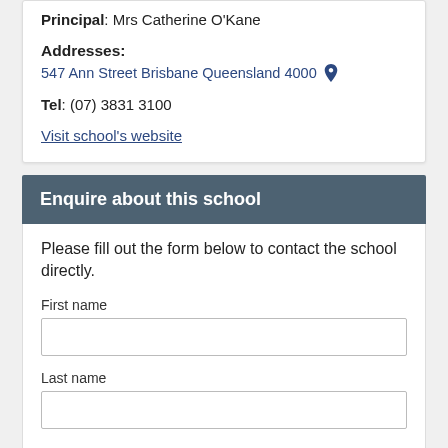Principal: Mrs Catherine O'Kane
Addresses:
547 Ann Street Brisbane Queensland 4000
Tel: (07) 3831 3100
Visit school's website
Enquire about this school
Please fill out the form below to contact the school directly.
First name
Last name